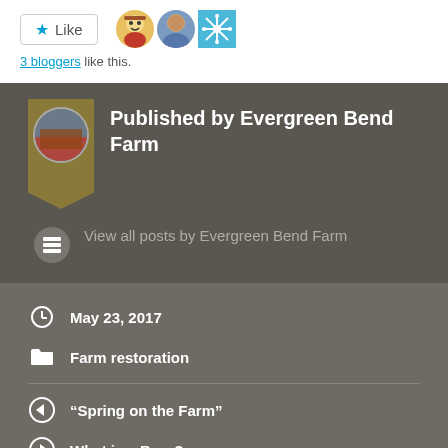[Figure (infographic): Like button with star icon and three blogger avatar images]
3 bloggers like this.
Published by Evergreen Bend Farm
View all posts by Evergreen Bend Farm
May 23, 2017
Farm restoration
“Spring on the Farm”
What is a Barn?